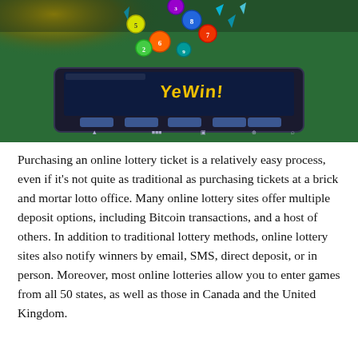[Figure (photo): A tablet device with lottery balls exploding out of the screen against a green background. The tablet screen shows 'You Win!' text with colorful bingo/lottery balls flying upward.]
Purchasing an online lottery ticket is a relatively easy process, even if it's not quite as traditional as purchasing tickets at a brick and mortar lotto office. Many online lottery sites offer multiple deposit options, including Bitcoin transactions, and a host of others. In addition to traditional lottery methods, online lottery sites also notify winners by email, SMS, direct deposit, or in person. Moreover, most online lotteries allow you to enter games from all 50 states, as well as those in Canada and the United Kingdom.